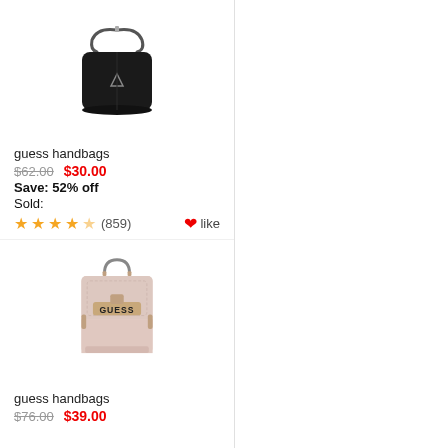[Figure (photo): Black Guess shoulder handbag on white background]
guess handbags
$62.00  $30.00
Save: 52% off
Sold:
★★★★☆ (859)   ❤like
[Figure (photo): Light pink/blush Guess structured handbag with GUESS logo hardware on white background]
guess handbags
$76.00  $39.00